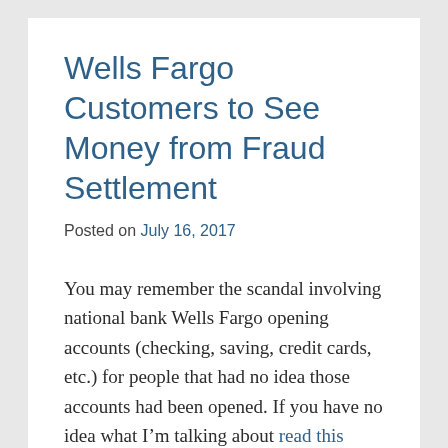Wells Fargo Customers to See Money from Fraud Settlement
Posted on July 16, 2017
You may remember the scandal involving national bank Wells Fargo opening accounts (checking, saving, credit cards, etc.) for people that had no idea those accounts had been opened. If you have no idea what I’m talking about read this article. As more people come to